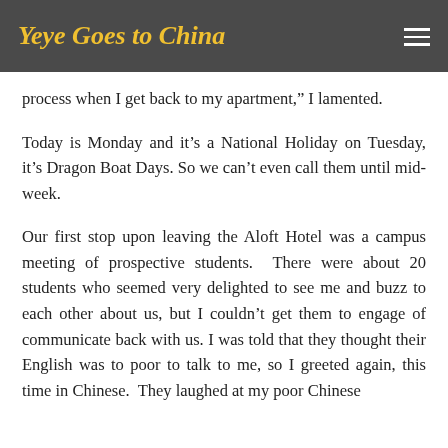Yeye Goes to China
process when I get back to my apartment,” I lamented.
Today is Monday and it’s a National Holiday on Tuesday, it’s Dragon Boat Days. So we can’t even call them until mid-week.
Our first stop upon leaving the Aloft Hotel was a campus meeting of prospective students.  There were about 20 students who seemed very delighted to see me and buzz to each other about us, but I couldn’t get them to engage of communicate back with us. I was told that they thought their English was to poor to talk to me, so I greeted again, this time in Chinese.  They laughed at my poor Chinese